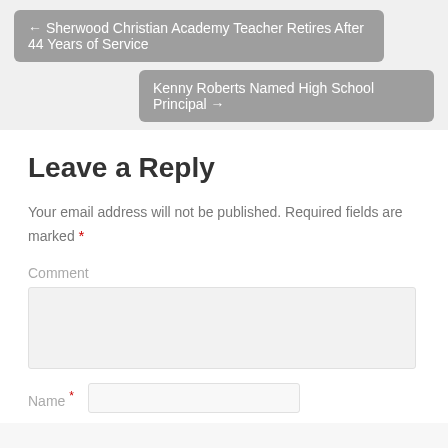← Sherwood Christian Academy Teacher Retires After 44 Years of Service
Kenny Roberts Named High School Principal →
Leave a Reply
Your email address will not be published. Required fields are marked *
Comment
Name *